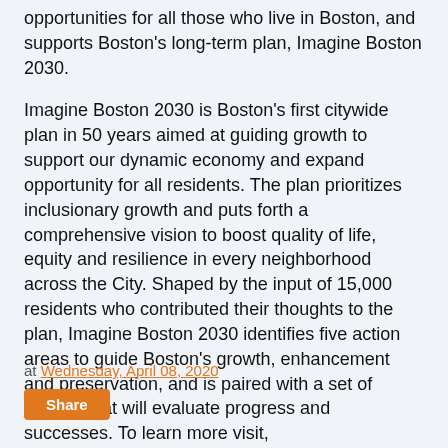opportunities for all those who live in Boston, and supports Boston's long-term plan, Imagine Boston 2030.
Imagine Boston 2030 is Boston's first citywide plan in 50 years aimed at guiding growth to support our dynamic economy and expand opportunity for all residents. The plan prioritizes inclusionary growth and puts forth a comprehensive vision to boost quality of life, equity and resilience in every neighborhood across the City. Shaped by the input of 15,000 residents who contributed their thoughts to the plan, Imagine Boston 2030 identifies five action areas to guide Boston's growth, enhancement and preservation, and is paired with a set of metrics that will evaluate progress and successes. To learn more visit, imagine.boston.gov.
For more information on the budget proposal, please visit budget.boston.gov.
at Wednesday, April 08, 2020
Share